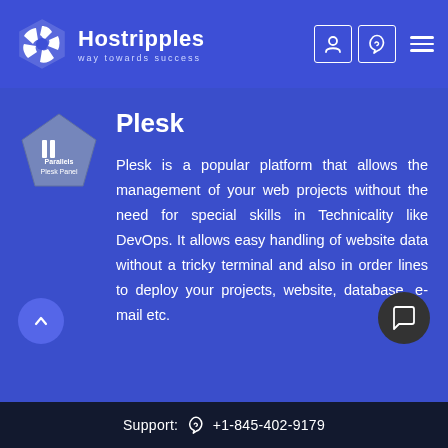Hostripples — way towards success
[Figure (logo): Parallels Plesk Panel logo: pentagon-shaped badge with II Parallels Plesk Panel text]
Plesk
Plesk is a popular platform that allows the management of your web projects without the need for special skills in Technicality like DevOps. It allows easy handling of website data without a tricky terminal and also in order lines to deploy your projects, website, database, e-mail etc.
Support: +1-845-402-9179